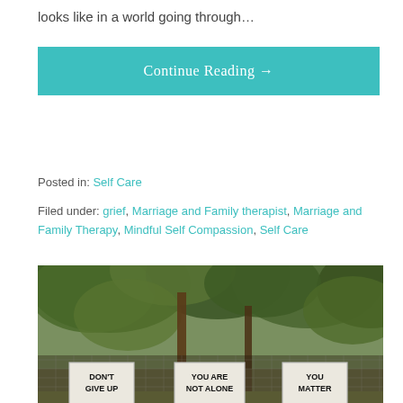looks like in a world going through…
Continue Reading →
Posted in: Self Care
Filed under: grief, Marriage and Family therapist, Marriage and Family Therapy, Mindful Self Compassion, Self Care
[Figure (photo): Photo of a chain-link fence with three signs reading 'DON'T GIVE UP', 'YOU ARE NOT ALONE', and 'YOU MATTER', surrounded by lush green trees and foliage in the background.]